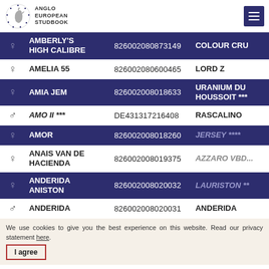Anglo European Studbook — navigation header with logo and menu button
| Gender | Name | ID | Sire |
| --- | --- | --- | --- |
| ♀ | AMBERLY'S HIGH CALIBRE | 826002080873149 | COLOUR CRU... |
| ♀ | AMELIA 55 | 826002080600465 | LORD Z |
| ♀ | AMIA JEM | 826002008018633 | URANIUM DU HOUSSOIT *** |
| ♂ | AMO II *** | DE431317216408 | RASCALINO |
| ♀ | AMOR | 826002008018260 | JERSEY **** |
| ♀ | ANAIS VAN DE HACIENDA | 826002008019375 | AZZARO VBD... |
| ♀ | ANDERIDA ANISTON | 826002008020032 | LAURISTON ** |
| ♂ | ANDERIDA | 826002008020031 | ANDERIDA |
We use cookies to give you the best experience on this website. Read our privacy statement here.
I agree